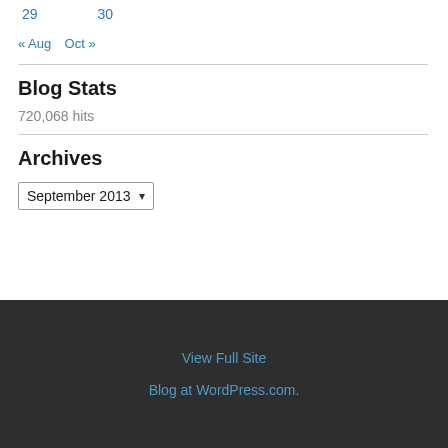29   30
« Aug   Oct »
Blog Stats
720,068 hits
Archives
September 2013 ▾
View Full Site
Blog at WordPress.com.